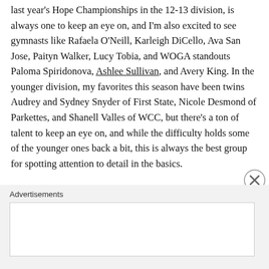last year's Hope Championships in the 12-13 division, is always one to keep an eye on, and I'm also excited to see gymnasts like Rafaela O'Neill, Karleigh DiCello, Ava San Jose, Paityn Walker, Lucy Tobia, and WOGA standouts Paloma Spiridonova, Ashlee Sullivan, and Avery King. In the younger division, my favorites this season have been twins Audrey and Sydney Snyder of First State, Nicole Desmond of Parkettes, and Shanell Valles of WCC, but there's a ton of talent to keep an eye on, and while the difficulty holds some of the younger ones back a bit, this is always the best group for spotting attention to detail in the basics.
The top 18 Hopes gymnasts in each division will
Advertisements